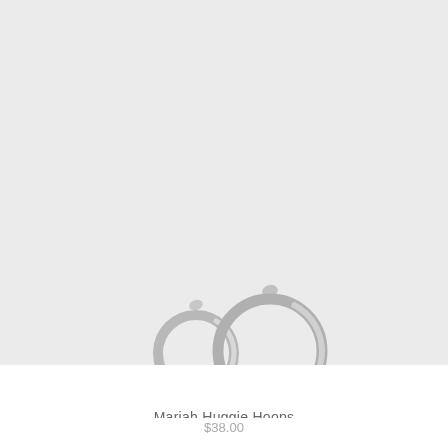[Figure (photo): Product photo of Mariah Huggie Hoops silver earrings on a light grey background. Two silver hoop earrings of different sizes shown in the bottom portion of the image.]
Mariah Huggie Hoops
$38.00